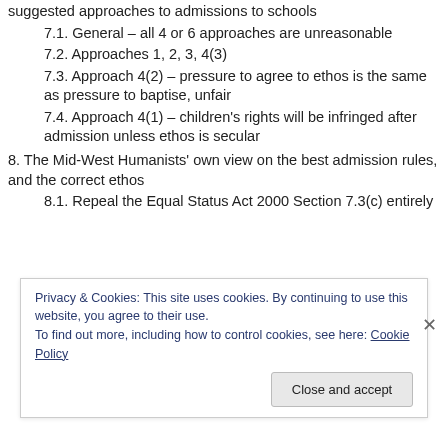suggested approaches to admissions to schools (truncated/partial at top)
7.1. General – all 4 or 6 approaches are unreasonable
7.2. Approaches 1, 2, 3, 4(3)
7.3. Approach 4(2) – pressure to agree to ethos is the same as pressure to baptise, unfair
7.4. Approach 4(1) – children's rights will be infringed after admission unless ethos is secular
8. The Mid-West Humanists' own view on the best admission rules, and the correct ethos
8.1. Repeal the Equal Status Act 2000 Section 7.3(c) entirely
Privacy & Cookies: This site uses cookies. By continuing to use this website, you agree to their use.
To find out more, including how to control cookies, see here: Cookie Policy